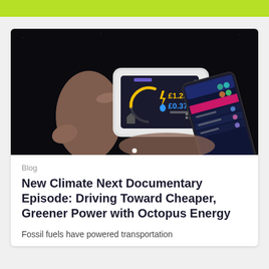[Figure (photo): Person holding a smart energy meter display showing £1.28 and £0.37, with a smartphone showing an energy app in the background, against a dark background.]
Blog
New Climate Next Documentary Episode: Driving Toward Cheaper, Greener Power with Octopus Energy
Fossil fuels have powered transportation